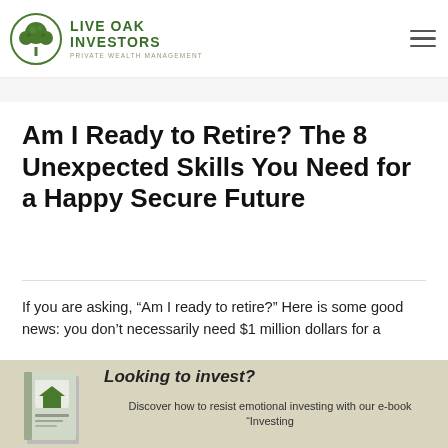[Figure (logo): Live Oak Investors logo: green circular tree icon with 'LIVE OAK INVESTORS' text and 'PRIVATE WEALTH MANAGEMENT' subtitle]
Am I Ready to Retire? The 8 Unexpected Skills You Need for a Happy Secure Future
If you are asking, “Am I ready to retire?” Here is some good news: you don’t necessarily need $1 million dollars for a
[Figure (illustration): Bottom banner ad: book cover for 'Investing with Confidence' e-book alongside text 'Looking to invest? Discover how to resist emotional investing with our e-book "Investing']
Looking to invest? Discover how to resist emotional investing with our e-book "Investing